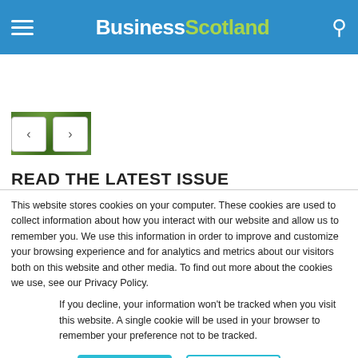Business Scotland
[Figure (photo): Thumbnail image of trees/foliage]
READ THE LATEST ISSUE
This website stores cookies on your computer. These cookies are used to collect information about how you interact with our website and allow us to remember you. We use this information in order to improve and customize your browsing experience and for analytics and metrics about our visitors both on this website and other media. To find out more about the cookies we use, see our Privacy Policy.
If you decline, your information won’t be tracked when you visit this website. A single cookie will be used in your browser to remember your preference not to be tracked.